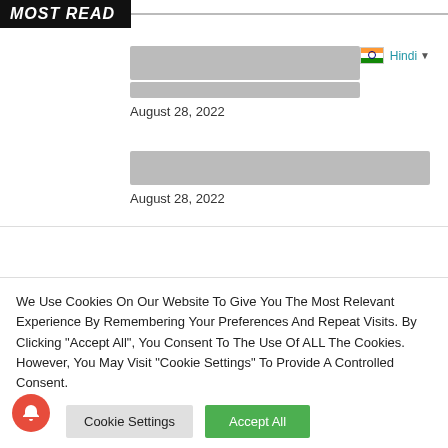MOST READ
[Hindi placeholder text - article title 1]
August 28, 2022
[Hindi placeholder text - article title 2]
August 28, 2022
We Use Cookies On Our Website To Give You The Most Relevant Experience By Remembering Your Preferences And Repeat Visits. By Clicking "Accept All", You Consent To The Use Of ALL The Cookies. However, You May Visit "Cookie Settings" To Provide A Controlled Consent.